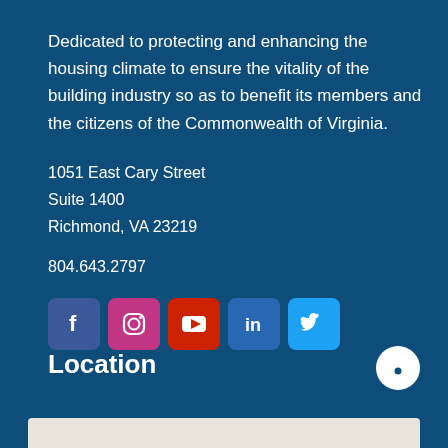Dedicated to protecting and enhancing the housing climate to ensure the vitality of the building industry so as to benefit its members and the citizens of the Commonwealth of Virginia.
1051 East Cary Street
Suite 1400
Richmond, VA 23219
804.643.2797
[Figure (infographic): Row of social media icon buttons: Facebook (blue), Instagram (pink/purple), YouTube (red), LinkedIn (blue), Twitter (light blue)]
Location
[Figure (other): White chat bubble icon in lower right corner]
[Figure (map): Partial map image at bottom edge of page]